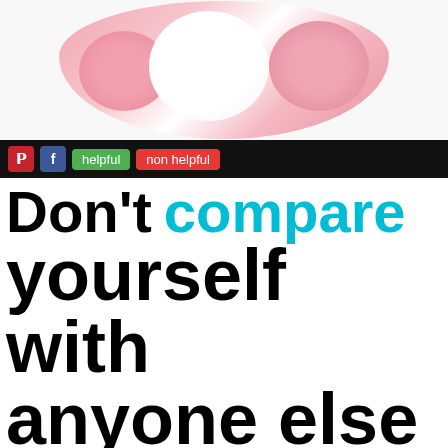[Figure (photo): Close-up photo of pink and white marshmallow or candy shapes on a white background]
[Figure (screenshot): Toolbar with Pinterest button (red), Facebook button (blue), green 'helpful' button, and red 'non helpful' button on black background]
Don't compare yourself with anyone else in this world. If you do, you are